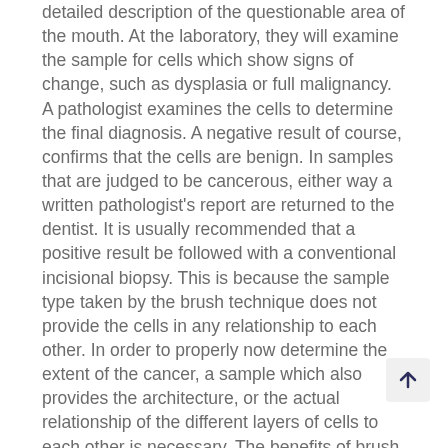detailed description of the questionable area of the mouth. At the laboratory, they will examine the sample for cells which show signs of change, such as dysplasia or full malignancy. A pathologist examines the cells to determine the final diagnosis. A negative result of course, confirms that the cells are benign. In samples that are judged to be cancerous, either way a written pathologist's report are returned to the dentist. It is usually recommended that a positive result be followed with a conventional incisional biopsy. This is because the sample type taken by the brush technique does not provide the cells in any relationship to each other. In order to properly now determine the extent of the cancer, a sample which also provides the architecture, or the actual relationship of the different layers of cells to each other is necessary. The benefits of brush cytology are the possible avoidance of surgical biopsy, and the ease of sampling, which can be performed during a routine dental examination. Because of its ease of use, and the elimination of any surgical procedure, no matter how small, this method allows tissue samples to be taken early in the process of areas that in the past, the doctor may have decided to just watch for